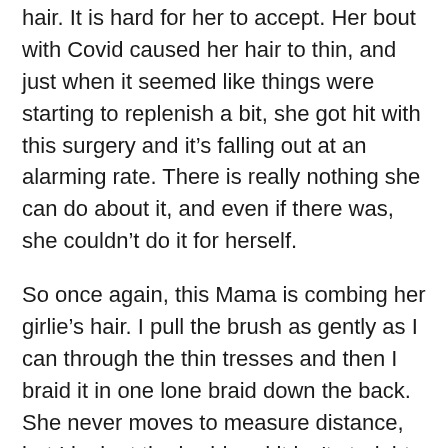hair. It is hard for her to accept. Her bout with Covid caused her hair to thin, and just when it seemed like things were starting to replenish a bit, she got hit with this surgery and it's falling out at an alarming rate. There is really nothing she can do about it, and even if there was, she couldn't do it for herself.
So once again, this Mama is combing her girlie's hair. I pull the brush as gently as I can through the thin tresses and then I braid it in one lone braid down the back. She never moves to measure distance, but I look at the braid and it isn't straight. I wonder what she's thinking. I resist the urge to try to tug it a bit to the right and say, “I don’t know, Deborie-girl. It’s not very straight . . . ”
“I know,” she says, matter of factly. And then, as she has said a hundred times over these last two weeks, “It doesn’t